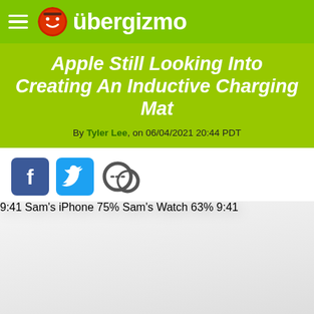übergizmo
Apple Still Looking Into Creating An Inductive Charging Mat
By Tyler Lee, on 06/04/2021 20:44 PDT
[Figure (photo): Apple iPhone and Apple Watch displayed on a white AirPower-style wireless charging mat]
[Figure (other): Social sharing icons: Facebook, Twitter, Comment]